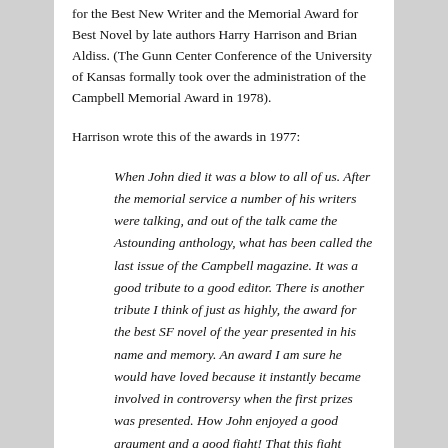for the Best New Writer and the Memorial Award for Best Novel by late authors Harry Harrison and Brian Aldiss. (The Gunn Center Conference of the University of Kansas formally took over the administration of the Campbell Memorial Award in 1978).
Harrison wrote this of the awards in 1977:
When John died it was a blow to all of us. After the memorial service a number of his writers were talking, and out of the talk came the Astounding anthology, what has been called the last issue of the Campbell magazine. It was a good tribute to a good editor. There is another tribute I think of just as highly, the award for the best SF novel of the year presented in his name and memory. An award I am sure he would have loved because it instantly became involved in controversy when the first prizes was presented. How John enjoyed a good argument and a good fight! That this fight sprawled through the letter